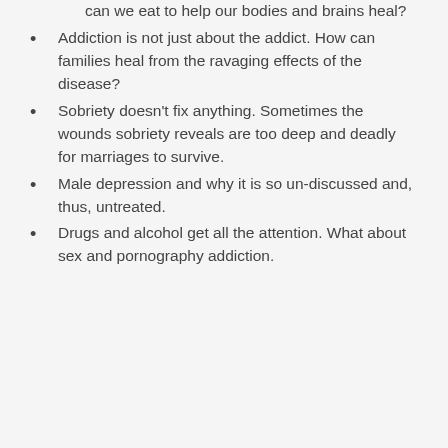can we eat to help our bodies and brains heal?
Addiction is not just about the addict. How can families heal from the ravaging effects of the disease?
Sobriety doesn’t fix anything. Sometimes the wounds sobriety reveals are too deep and deadly for marriages to survive.
Male depression and why it is so un-discussed and, thus, untreated.
Drugs and alcohol get all the attention. What about sex and pornography addiction.